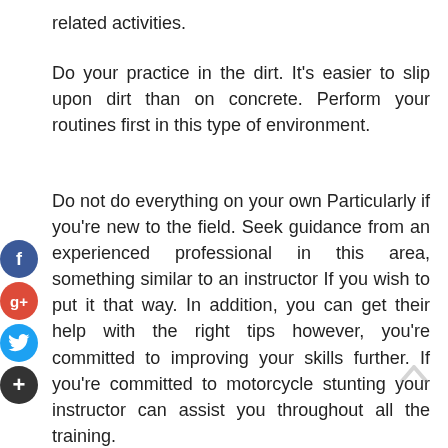related activities.
Do your practice in the dirt. It's easier to slip upon dirt than on concrete. Perform your routines first in this type of environment.
Do not do everything on your own Particularly if you're new to the field. Seek guidance from an experienced professional in this area, something similar to an instructor If you wish to put it that way. In addition, you can get their help with the right tips however, you're committed to improving your skills further. If you're committed to motorcycle stunting your instructor can assist you throughout all the training.